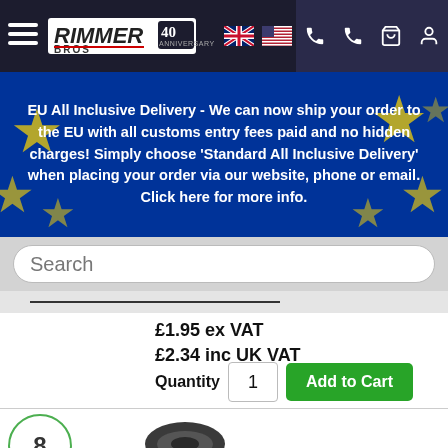[Figure (screenshot): Rimmer Bros logo with 40th anniversary badge and navigation icons including email, phone, cart, and user account]
EU All Inclusive Delivery - We can now ship your order to the EU with all customs entry fees paid and no hidden charges! Simply choose 'Standard All Inclusive Delivery' when placing your order via our website, phone or email. Click here for more info.
Search
£1.95 ex VAT
£2.34  inc UK VAT
Quantity  1  Add to Cart
8
[Figure (photo): Mounting rubber part DBP7104 - small black oval rubber mounting]
Mounting Rubber - DBP7104 - Genuine
From Year-2000, From SN-471565, CP Type-VIN, Qty Req-1, Application-K Series, downpipe
Scroll to top
Review this Product
Part No.: DBP7104